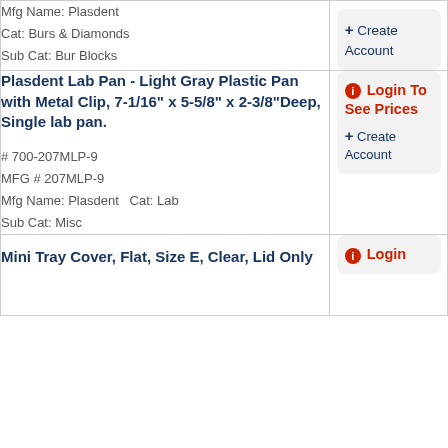| Product | Action |
| --- | --- |
| Mfg Name: Plasdent
Cat: Burs & Diamonds
Sub Cat: Bur Blocks | Create Account |
| Plasdent Lab Pan - Light Gray Plastic Pan with Metal Clip, 7-1/16" x 5-5/8" x 2-3/8"Deep, Single lab pan.
# 700-207MLP-9
MFG # 207MLP-9
Mfg Name: Plasdent  Cat: Lab
Sub Cat: Misc | Login To See Prices + Create Account |
| Mini Tray Cover, Flat, Size E, Clear, Lid Only | Login |